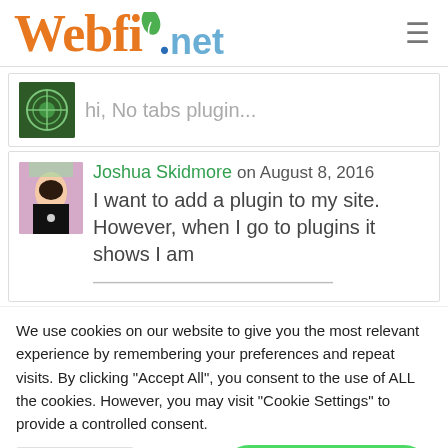[Figure (logo): Webfio.net logo with orange serif Webfi, blue dot, green leaf, and blue .net text]
hi, No tabs plugin...
Joshua Skidmore on August 8, 2016
I want to add a plugin to my site. However, when I go to plugins it shows I am
We use cookies on our website to give you the most relevant experience by remembering your preferences and repeat visits. By clicking "Accept All", you consent to the use of ALL the cookies. However, you may visit "Cookie Settings" to provide a controlled consent.
Cookie Settings
Accep
How can I help you?